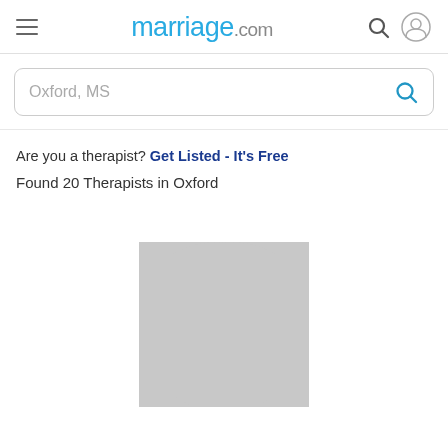marriage.com
Oxford, MS
Are you a therapist? Get Listed - It's Free
Found 20 Therapists in Oxford
[Figure (illustration): Gray placeholder avatar silhouette showing a rounded head shape, representing a default therapist profile photo.]